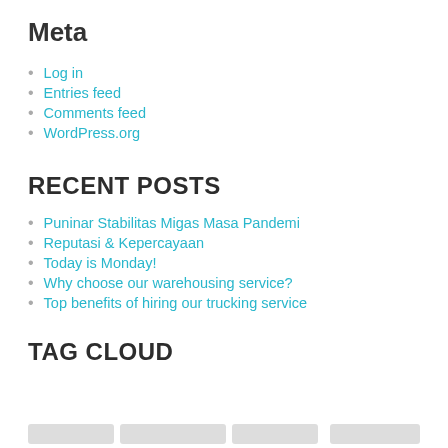Meta
Log in
Entries feed
Comments feed
WordPress.org
RECENT POSTS
Puninar Stabilitas Migas Masa Pandemi
Reputasi & Kepercayaan
Today is Monday!
Why choose our warehousing service?
Top benefits of hiring our trucking service
TAG CLOUD